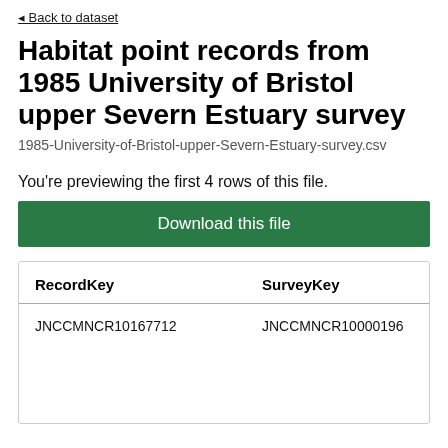◄ Back to dataset
Habitat point records from 1985 University of Bristol upper Severn Estuary survey
1985-University-of-Bristol-upper-Severn-Estuary-survey.csv
You're previewing the first 4 rows of this file.
Download this file
| RecordKey | SurveyKey | Su... |
| --- | --- | --- |
| JNCCMNCR10167712 | JNCCMNCR10000196 | 198... Uni... Bris... Se... Est... |